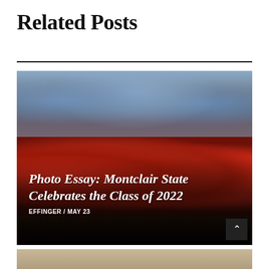Related Posts
[Figure (photo): Graduation ceremony photo showing Montclair State University graduates in red caps and gowns marching, with a large crowd in the stadium bleachers in the background. Overlaid text reads 'Photo Essay: Montclair State Celebrates the Class of 2022' with byline 'EFFINGER / MAY 23']
[Figure (photo): Partial view of a second related post image, cropped at bottom of page, showing sandy/earthy tones]